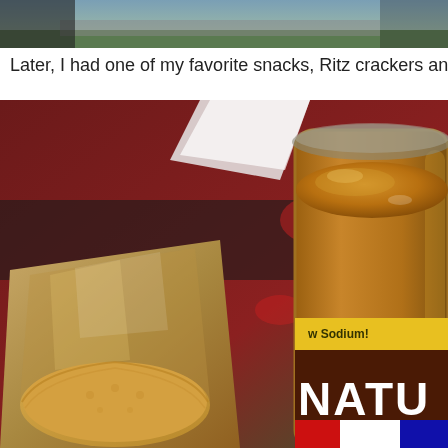[Figure (photo): Top partial photo showing an outdoor aerial or street-level scene with green landscape and road visible.]
Later, I had one of my favorite snacks, Ritz crackers and peanu
[Figure (photo): Close-up photo of Ritz crackers in plastic packaging next to an open jar of natural peanut butter with label reading 'Low Sodium! NATU' visible on a red tablecloth background.]